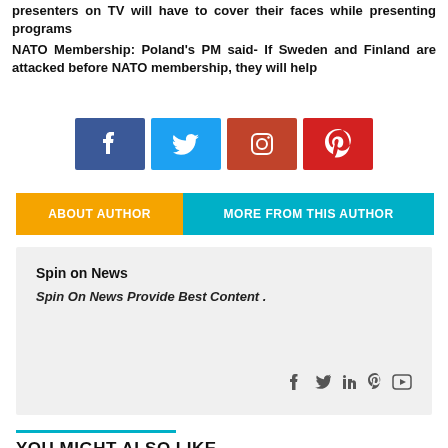presenters on TV will have to cover their faces while presenting programs
NATO Membership: Poland’s PM said- If Sweden and Finland are attacked before NATO membership, they will help
[Figure (infographic): Social share buttons: Facebook (blue), Twitter (cyan), Instagram (red-orange), Pinterest (red)]
ABOUT AUTHOR | MORE FROM THIS AUTHOR
Spin on News
Spin On News Provide Best Content .
[Figure (infographic): Author social media icons: Facebook, Twitter, LinkedIn, Pinterest, YouTube]
YOU MIGHT ALSO LIKE